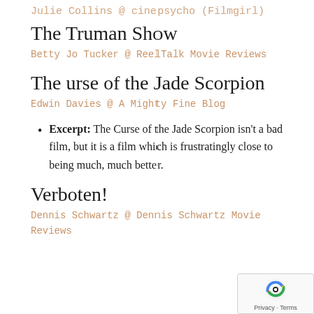Julie Collins @ cinepsycho (Filmgirl)
The Truman Show
Betty Jo Tucker @ ReelTalk Movie Reviews
The urse of the Jade Scorpion
Edwin Davies @ A Mighty Fine Blog
Excerpt: The Curse of the Jade Scorpion isn't a bad film, but it is a film which is frustratingly close to being much, much better.
Verboten!
Dennis Schwartz @ Dennis Schwartz Movie Reviews